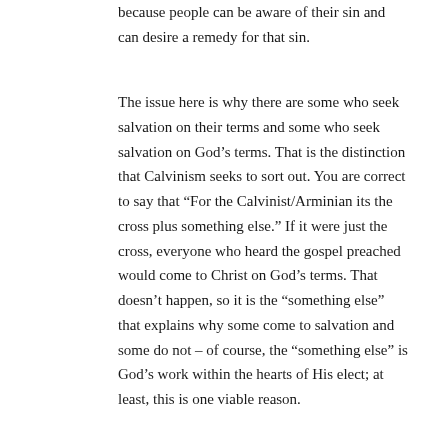because people can be aware of their sin and can desire a remedy for that sin.
The issue here is why there are some who seek salvation on their terms and some who seek salvation on God’s terms. That is the distinction that Calvinism seeks to sort out. You are correct to say that “For the Calvinist/Arminian its the cross plus something else.” If it were just the cross, everyone who heard the gospel preached would come to Christ on God’s terms. That doesn’t happen, so it is the “something else” that explains why some come to salvation and some do not – of course, the “something else” is God’s work within the hearts of His elect; at least, this is one viable reason.